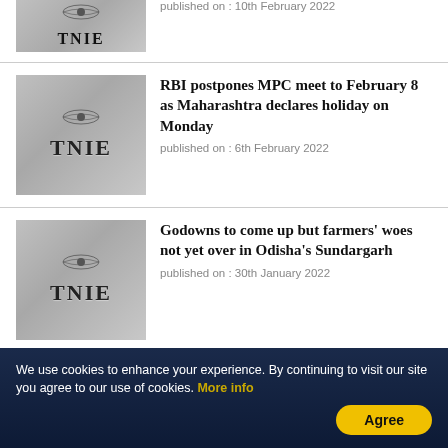[Figure (screenshot): TNIE logo thumbnail - partial top article]
published on : 10th February 2022
[Figure (screenshot): TNIE logo thumbnail for MPC article]
RBI postpones MPC meet to February 8 as Maharashtra declares holiday on Monday
published on : 6th February 2022
[Figure (screenshot): TNIE logo thumbnail for Godowns article]
Godowns to come up but farmers' woes not yet over in Odisha's Sundargarh
published on : 30th January 2022
[Figure (screenshot): TNIE logo thumbnail for Schrodinger article]
RBI lets Schrodinger's cat out of the bag, admits rate corrections can't fight inflation for now
We use cookies to enhance your experience. By continuing to visit our site you agree to our use of cookies. More info